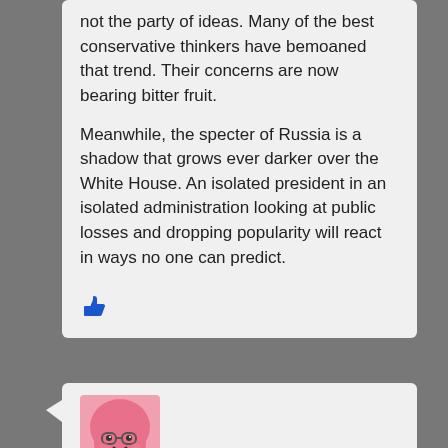not the party of ideas. Many of the best conservative thinkers have bemoaned that trend. Their concerns are now bearing bitter fruit.

Meanwhile, the specter of Russia is a shadow that grows ever darker over the White House. An isolated president in an isolated administration looking at public losses and dropping popularity will react in ways no one can predict.
[Figure (illustration): Blue thumbs-up like icon]
[Figure (illustration): Cartoon avatar of a pink character wearing glasses and a hijab, partially visible at bottom of page]